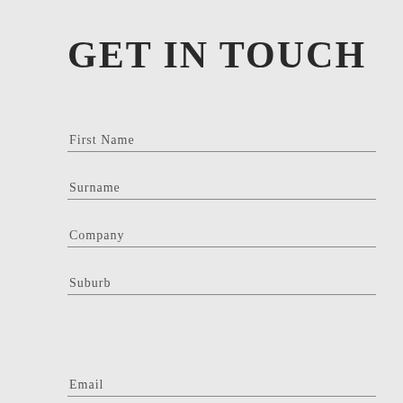GET IN TOUCH
First Name
Surname
Company
Suburb
Email